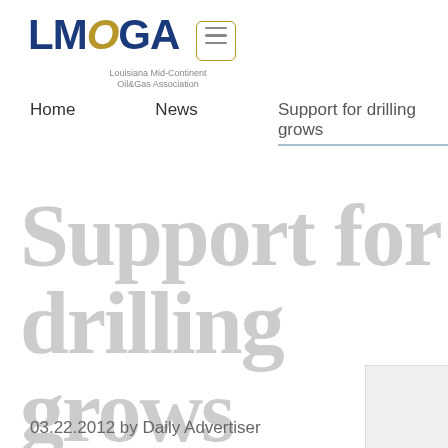[Figure (logo): LMOGA Louisiana Mid-Continent Oil & Gas Association logo with menu button]
Home   News   Support for drilling grows
Support for drilling grows
03.22.2012 by Daily Advertiser